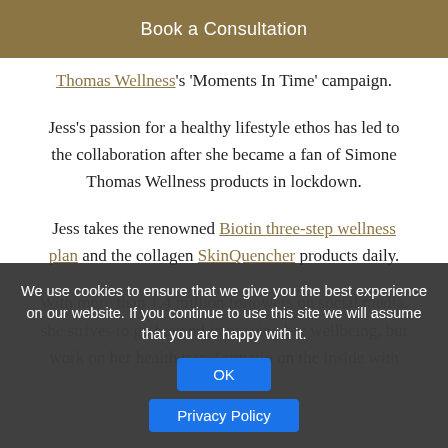Book a Consultation
Thomas Wellness's 'Moments In Time' campaign.
Jess's passion for a healthy lifestyle ethos has led to the collaboration after she became a fan of Simone Thomas Wellness products in lockdown.
Jess takes the renowned Biotin three-step wellness plan and the collagen SkinQuencher products daily.
With more than 1.4 million followers on social media, she strives to go beyond improving her wellbeing, but work on her health transformation on the inside with lasting
We use cookies to ensure that we give you the best experience on our website. If you continue to use this site we will assume that you are happy with it.
OK
Privacy Policy